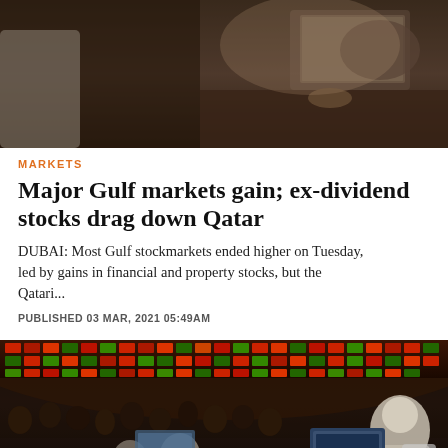[Figure (photo): Top photo showing people at what appears to be a business or financial setting, dimly lit, someone using a laptop]
MARKETS
Major Gulf markets gain; ex-dividend stocks drag down Qatar
DUBAI: Most Gulf stockmarkets ended higher on Tuesday, led by gains in financial and property stocks, but the Qatari...
PUBLISHED 03 MAR, 2021 05:49AM
[Figure (photo): Bottom photo showing a busy stock exchange trading floor with large display boards showing stock prices in red and green, traders in traditional Gulf attire]